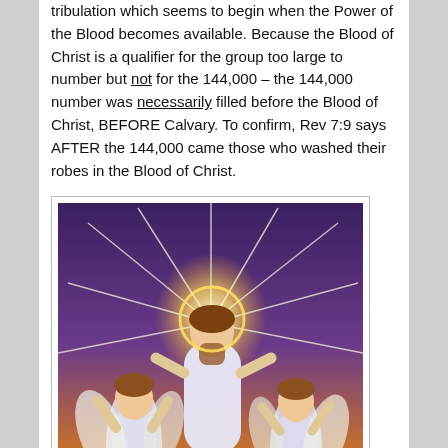tribulation which seems to begin when the Power of the Blood becomes available. Because the Blood of Christ is a qualifier for the group too large to number but not for the 144,000 – the 144,000 number was necessarily filled before the Blood of Christ, BEFORE Calvary. To confirm, Rev 7:9 says AFTER the 144,000 came those who washed their robes in the Blood of Christ.
[Figure (illustration): Religious illustration showing angelic figures in white robes ascending with a glowing light, set against a dramatic colorful background.]
Redeemed before a great tribulation began, these 144,000 are explicitly sinless Jewish males; and since Jesus Christ is and always will be, the only perfect sinless man, these males then could not have reached manhood when they were redeemed from among men (from the